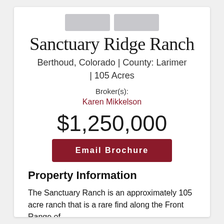[Figure (logo): Two placeholder logo rectangles side by side]
Sanctuary Ridge Ranch
Berthoud, Colorado | County: Larimer | 105 Acres
Broker(s):
Karen Mikkelson
$1,250,000
Email Brochure
Property Information
The Sanctuary Ranch is an approximately 105 acre ranch that is a rare find along the Front Range of